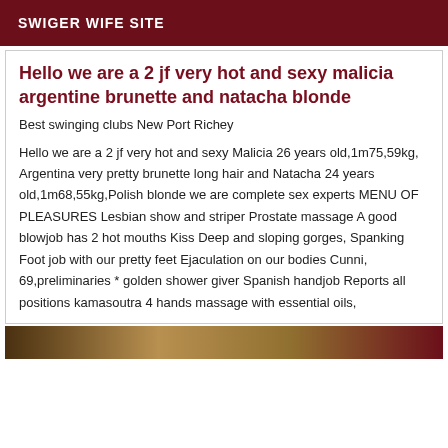SWIGER WIFE SITE
Hello we are a 2 jf very hot and sexy malicia argentine brunette and natacha blonde
Best swinging clubs New Port Richey
Hello we are a 2 jf very hot and sexy Malicia 26 years old,1m75,59kg, Argentina very pretty brunette long hair and Natacha 24 years old,1m68,55kg,Polish blonde we are complete sex experts MENU OF PLEASURES Lesbian show and striper Prostate massage A good blowjob has 2 hot mouths Kiss Deep and sloping gorges, Spanking Foot job with our pretty feet Ejaculation on our bodies Cunni, 69,preliminaries * golden shower giver Spanish handjob Reports all positions kamasoutra 4 hands massage with essential oils,
[Figure (photo): Partial image at bottom of page, appears to be a photograph]